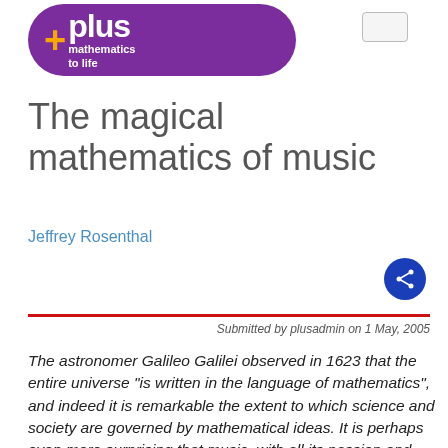[Figure (logo): Plus magazine logo: purple pill-shaped banner with orange plus sign, 'plus' in white bold text, and tagline 'mathematics to life' in white]
The magical mathematics of music
Jeffrey Rosenthal
Submitted by plusadmin on 1 May, 2005
The astronomer Galileo Galilei observed in 1623 that the entire universe "is written in the language of mathematics", and indeed it is remarkable the extent to which science and society are governed by mathematical ideas. It is perhaps even more surprising that music, with all its passion and emotion, is also based upon mathematical relationships. Such musical notions as octaves